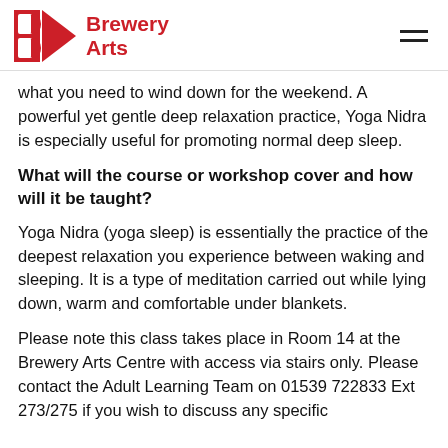Brewery Arts
what you need to wind down for the weekend. A powerful yet gentle deep relaxation practice, Yoga Nidra is especially useful for promoting normal deep sleep.
What will the course or workshop cover and how will it be taught?
Yoga Nidra (yoga sleep) is essentially the practice of the deepest relaxation you experience between waking and sleeping. It is a type of meditation carried out while lying down, warm and comfortable under blankets.
Please note this class takes place in Room 14 at the Brewery Arts Centre with access via stairs only. Please contact the Adult Learning Team on 01539 722833 Ext 273/275 if you wish to discuss any specific